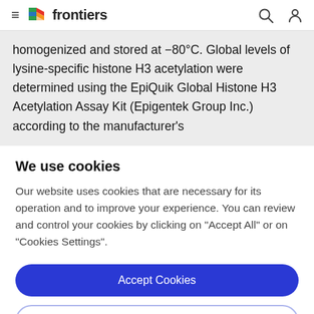frontiers
homogenized and stored at −80°C. Global levels of lysine-specific histone H3 acetylation were determined using the EpiQuik Global Histone H3 Acetylation Assay Kit (Epigentek Group Inc.) according to the manufacturer's
We use cookies
Our website uses cookies that are necessary for its operation and to improve your experience. You can review and control your cookies by clicking on "Accept All" or on "Cookies Settings".
Accept Cookies
Cookies Settings